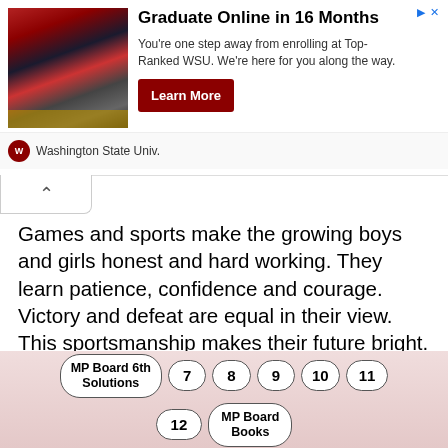[Figure (screenshot): Advertisement banner for Washington State University online graduate program. Shows a crowd photo on left, headline 'Graduate Online in 16 Months', body text, and a red 'Learn More' button. WSU logo and name shown below.]
Games and sports make the growing boys and girls honest and hard working. They learn patience, confidence and courage. Victory and defeat are equal in their view. This sportsmanship makes their future bright. Moreover they form regular habits which lead them on the path of success.
3. As a profession: In the modern age games and sports have become profession also.
MP Board 6th Solutions  7  8  9  10  11  12  MP Board Books